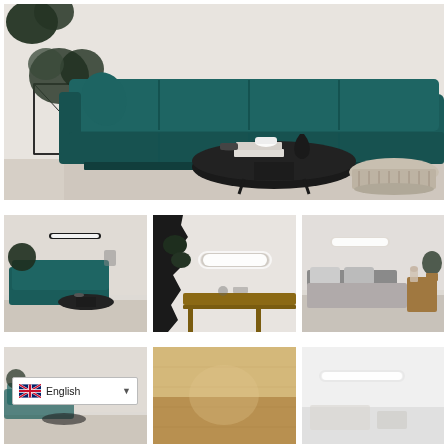[Figure (photo): Large interior photo of a modern living room with a dark teal velvet sectional sofa, round black coffee table with books and cups, wicker stools, metal plant stand with greenery, and white textured brick wall.]
[Figure (photo): Thumbnail of the same living room scene with teal sofa, round black coffee table, and a horizontal strip LED wall sconce above.]
[Figure (photo): Thumbnail of a dining/work area with a wooden table and a horizontal oval LED wall sconce mounted on white wall, with dark torn-wall design detail.]
[Figure (photo): Thumbnail of a bedroom with grey bedding, wooden nightstand, plants and a horizontal LED wall sconce.]
[Figure (photo): Thumbnail with an English language selector dropdown overlay visible.]
[Figure (photo): Thumbnail of a warm-toned beige/gold surface or product detail.]
[Figure (photo): Thumbnail of a light grey/white minimal interior or product shot.]